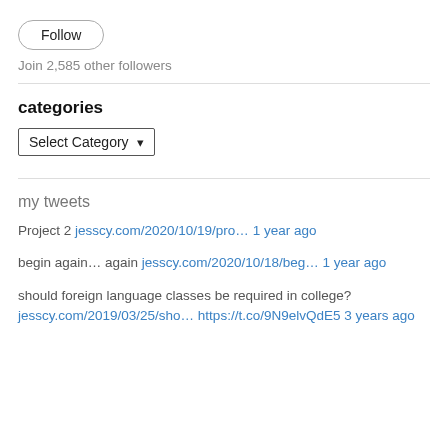Follow
Join 2,585 other followers
categories
Select Category
my tweets
Project 2 jesscy.com/2020/10/19/pro… 1 year ago
begin again… again jesscy.com/2020/10/18/beg… 1 year ago
should foreign language classes be required in college? jesscy.com/2019/03/25/sho… https://t.co/9N9elvQdE5 3 years ago